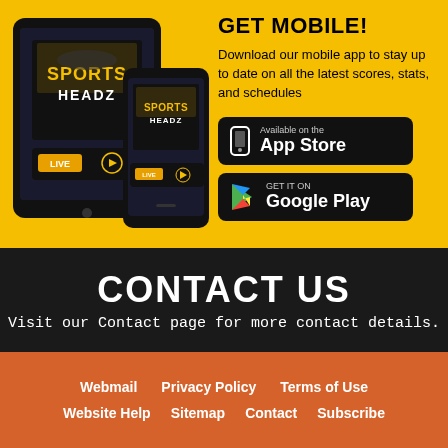[Figure (illustration): Sports Headz tablet and smartphone showing the app with LIVE streaming interface]
GET MOBILE!
Download our mobile app to stay up to date on all the latest scores, stats, and schedules
[Figure (illustration): Available on the App Store button]
[Figure (illustration): GET IT ON Google Play button]
CONTACT US
Visit our Contact page for more contact details.
Webmail
Privacy Policy
Terms of Use
Website Help
Sitemap
Contact
Subscribe